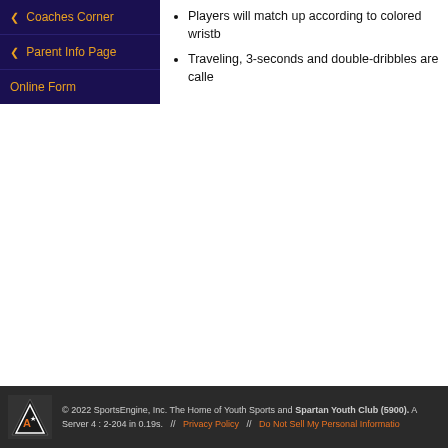Players will match up according to colored wristb
Traveling, 3-seconds and double-dribbles are calle
Coaches Corner
Parent Info Page
Online Form
© 2022 SportsEngine, Inc. The Home of Youth Sports and Spartan Youth Club (5900). A Server 4 : 2-204 in 0.19s. // Privacy Policy // Do Not Sell My Personal Information